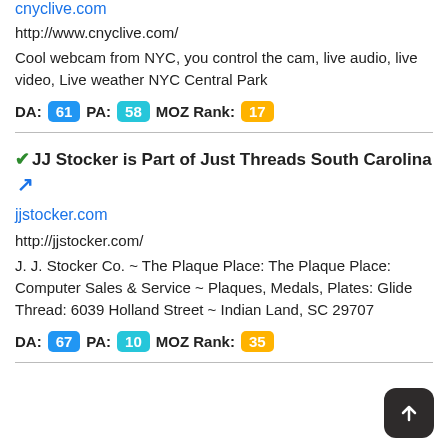cnyclive.com
http://www.cnyclive.com/
Cool webcam from NYC, you control the cam, live audio, live video, Live weather NYC Central Park
DA: 61  PA: 58  MOZ Rank: 17
JJ Stocker is Part of Just Threads South Carolina
jjstocker.com
http://jjstocker.com/
J. J. Stocker Co. ~ The Plaque Place: The Plaque Place: Computer Sales & Service ~ Plaques, Medals, Plates: Glide Thread: 6039 Holland Street ~ Indian Land, SC 29707
DA: 67  PA: 10  MOZ Rank: 35